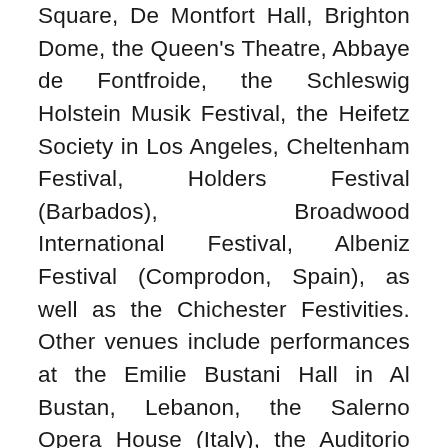Square, De Montfort Hall, Brighton Dome, the Queen's Theatre, Abbaye de Fontfroide, the Schleswig Holstein Musik Festival, the Heifetz Society in Los Angeles, Cheltenham Festival, Holders Festival (Barbados), Broadwood International Festival, Albeniz Festival (Comprodon, Spain), as well as the Chichester Festivities. Other venues include performances at the Emilie Bustani Hall in Al Bustan, Lebanon, the Salerno Opera House (Italy), the Auditorio Alfredo Kraus in Gran Canaria, Palais de Chaillot, Salle Gaveau and UNESCO in Paris, The Princess Galyani Concert Hall in Thailand and the National Museum of